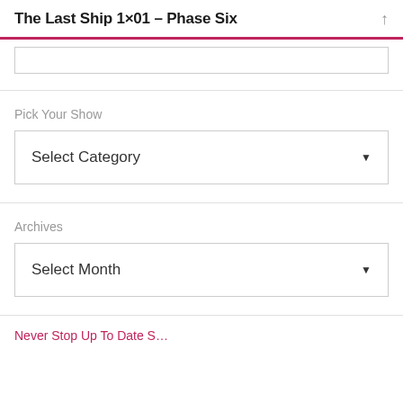The Last Ship 1×01 – Phase Six
Pick Your Show
Select Category
Archives
Select Month
Never Stop Up To Date S…